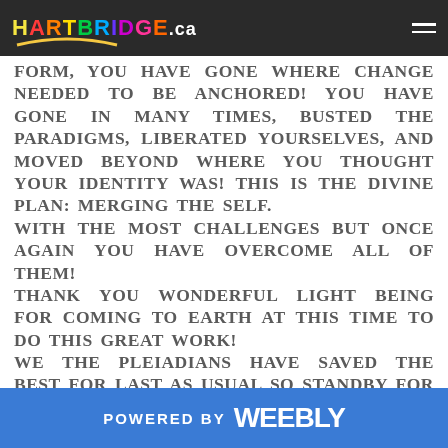HARTBRIDGE.ca
FORM, YOU HAVE GONE WHERE CHANGE NEEDED TO BE ANCHORED! YOU HAVE GONE IN MANY TIMES, BUSTED THE PARADIGMS, LIBERATED YOURSELVES, AND MOVED BEYOND WHERE YOU THOUGHT YOUR IDENTITY WAS! THIS IS THE DIVINE PLAN: MERGING THE SELF.
WITH THE MOST CHALLENGES BUT ONCE AGAIN YOU HAVE OVERCOME ALL OF THEM!
THANK YOU WONDERFUL LIGHT BEING FOR COMING TO EARTH AT THIS TIME TO DO THIS GREAT WORK!
WE THE PLEIADIANS HAVE SAVED THE BEST FOR LAST AS USUAL SO STANDBY FOR YOUR BLISSFUL MAGICAL HEAVEN TO OPEN UP BEFORE YOUR VERY EYES! <3
GOD-SPEED,
POWERED BY weebly